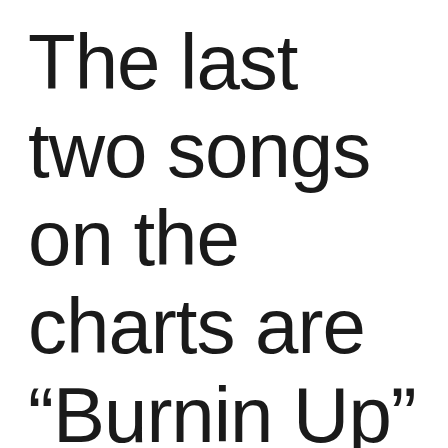The last two songs on the charts are “Burnin Up” (1-7) and “Sweet